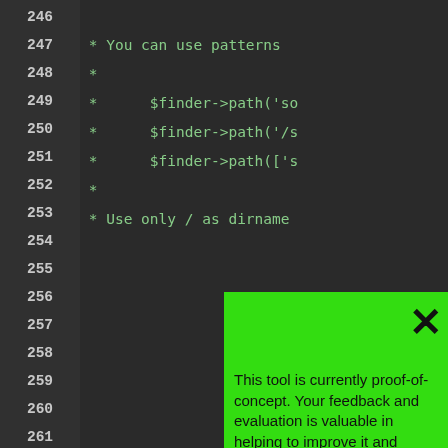[Figure (screenshot): Code editor screenshot showing line numbers 246-269 on a dark background with green monospace text showing PHP code comments with $finder->path() calls. A large bright green popup overlay covers the lower-right portion of the screen with an X close button and text about a proof-of-concept tool requesting user feedback via a short survey.]
This tool is currently proof-of-concept. Your feedback and evaluation is valuable in helping to improve it and ensure its reports are meaninful.
Please click here to complete a short survey to tell us what you think. It should take less than 5 minutes and help further this research project!